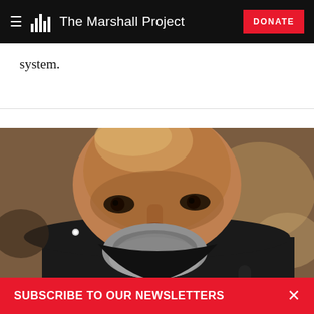The Marshall Project — DONATE
system.
[Figure (photo): Close-up photograph of a bald Black man with a grey beard and mustache, wearing a dark jacket and a small diamond stud earring, looking downward with a serious expression. The background shows blurred brown tones.]
SUBSCRIBE TO OUR NEWSLETTERS